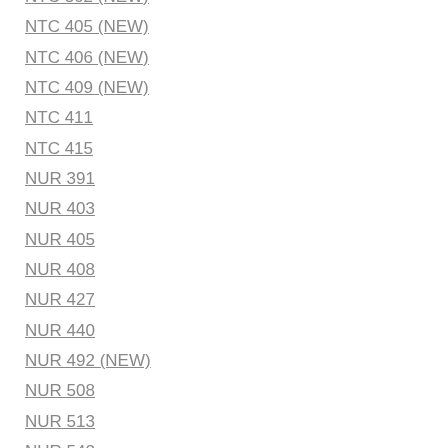NTC 362 (NEW)
NTC 405 (NEW)
NTC 406 (NEW)
NTC 409 (NEW)
NTC 411
NTC 415
NUR 391
NUR 403
NUR 405
NUR 408
NUR 427
NUR 440
NUR 492 (NEW)
NUR 508
NUR 513
NUR 542
NUR 544 (NEW)
NUR 587